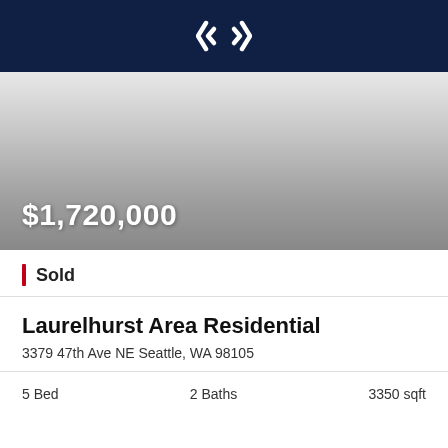[Figure (logo): Real estate company logo — white diamond/arrow icon on dark navy background]
[Figure (photo): Property listing photo placeholder — gradient grey rectangle representing a property image with price overlay $1,720,000]
Sold
Laurelhurst Area Residential
3379 47th Ave NE Seattle, WA 98105
5 Bed   2 Baths   3350 sqft